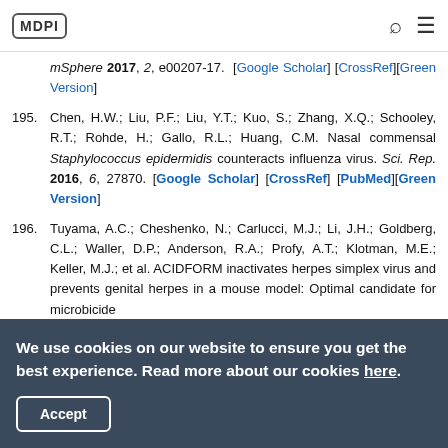MDPI
mSphere 2017, 2, e00207-17. [Google Scholar] [CrossRef][Green Version]
195. Chen, H.W.; Liu, P.F.; Liu, Y.T.; Kuo, S.; Zhang, X.Q.; Schooley, R.T.; Rohde, H.; Gallo, R.L.; Huang, C.M. Nasal commensal Staphylococcus epidermidis counteracts influenza virus. Sci. Rep. 2016, 6, 27870. [Google Scholar] [CrossRef] [PubMed][Green Version]
196. Tuyama, A.C.; Cheshenko, N.; Carlucci, M.J.; Li, J.H.; Goldberg, C.L.; Waller, D.P.; Anderson, R.A.; Profy, A.T.; Klotman, M.E.; Keller, M.J.; et al. ACIDFORM inactivates herpes simplex virus and prevents genital herpes in a mouse model: Optimal candidate for microbicide
We use cookies on our website to ensure you get the best experience. Read more about our cookies here.
Accept